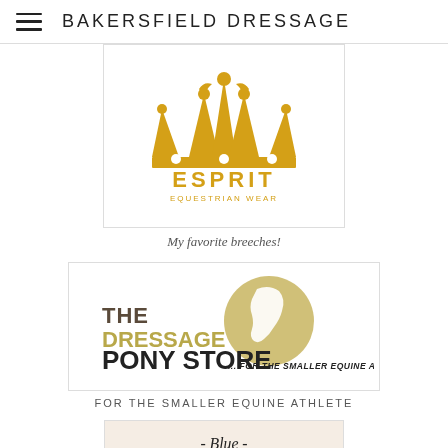BAKERSFIELD DRESSAGE
[Figure (logo): Esprit Equestrian Wear logo with golden crown and text 'ESPRIT EQUESTRIAN WEAR']
My favorite breeches!
[Figure (logo): The Dressage Pony Store logo with golden horse head circle and text '... FOR THE SMALLER EQUINE ATHLETE']
FOR THE SMALLER EQUINE ATHLETE
[Figure (logo): Blue Canyon logo partially visible, script text '- Blue -' and partial 'CANYON' text on light peachy background]